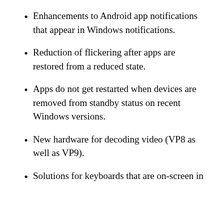Enhancements to Android app notifications that appear in Windows notifications.
Reduction of flickering after apps are restored from a reduced state.
Apps do not get restarted when devices are removed from standby status on recent Windows versions.
New hardware for decoding video (VP8 as well as VP9).
Solutions for keyboards that are on-screen in